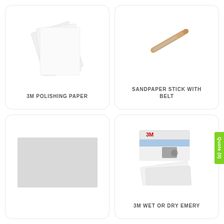[Figure (photo): 3M Polishing Paper product - fanned sheets of white/translucent polishing paper]
3M POLISHING PAPER
[Figure (photo): Sandpaper stick with belt - a stick/dowel with sandpaper belt attached]
SANDPAPER STICK WITH BELT
[Figure (photo): Grey rectangle placeholder image]
[Figure (photo): 3M Wet or Dry Emery product packaging and sheets]
3M WET OR DRY EMERY